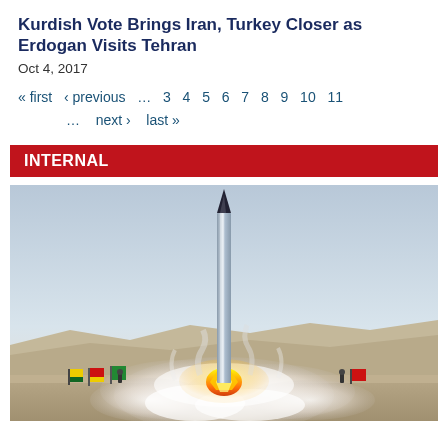Kurdish Vote Brings Iran, Turkey Closer as Erdogan Visits Tehran
Oct 4, 2017
« first  ‹ previous  …  3  4  5  6  7  8  9  10  11  …  next ›  last »
INTERNAL
[Figure (photo): A ballistic missile launching from a desert terrain with fire and smoke at its base; colorful flags visible on the left side of the launch site.]